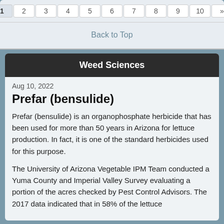1 2 3 4 5 6 7 8 9 10 »
Back to Top
Weed Sciences
Aug 10, 2022
Prefar (bensulide)
Prefar (bensulide) is an organophosphate herbicide that has been used for more than 50 years in Arizona for lettuce production. In fact, it is one of the standard herbicides used for this purpose.
The University of Arizona Vegetable IPM Team conducted a Yuma County and Imperial Valley Survey evaluating a portion of the acres checked by Pest Control Advisors. The 2017 data indicated that in 58% of the lettuce